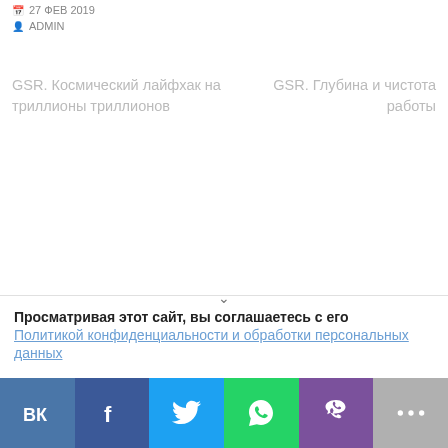📅 27 ФЕВ 2019
👤 ADMIN
GSR. Космический лайфхак на триллионы триллионов
GSR. Глубина и чистота работы
Просматривая этот сайт, вы соглашаетесь с его
Политикой конфиденциальности и обработки персональных данных
[Figure (other): Social sharing buttons bar: VK, Facebook, Twitter, WhatsApp, Viber, More]